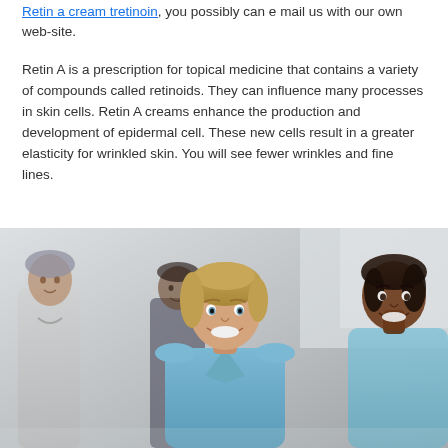Retin a cream tretinoin, you possibly can e mail us with our own web-site.
Retin A is a prescription for topical medicine that contains a variety of compounds called retinoids. They can influence many processes in skin cells. Retin A creams enhance the production and development of epidermal cell. These new cells result in a greater elasticity for wrinkled skin. You will see fewer wrinkles and fine lines.
[Figure (photo): A group of medical professionals including a smiling blonde female nurse in blue scrubs in the foreground, with other medical staff in the background shown in a slightly desaturated tone.]